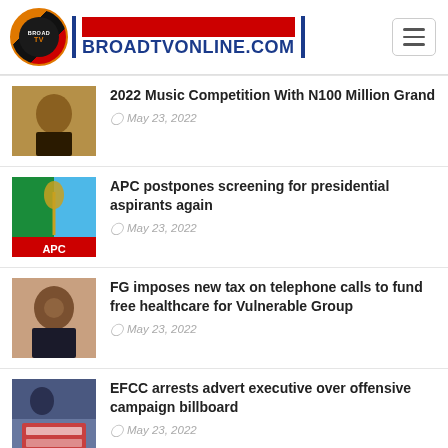BROADTVONLINE.COM
2022 Music Competition With N100 Million Grand | May 23, 2022
APC postpones screening for presidential aspirants again | May 23, 2022
FG imposes new tax on telephone calls to fund free healthcare for Vulnerable Group | May 23, 2022
EFCC arrests advert executive over offensive campaign billboard | May 23, 2022
EFCC Releases Former Reps Speaker, Patricia Etteh,